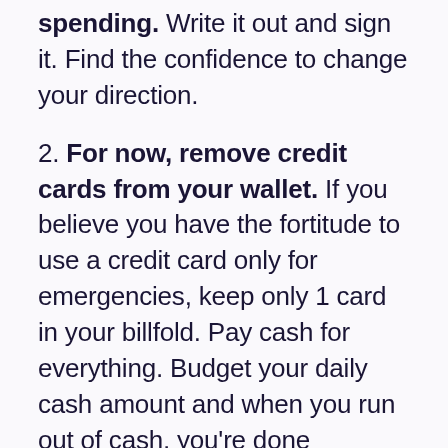spending. Write it out and sign it. Find the confidence to change your direction.
2. For now, remove credit cards from your wallet. If you believe you have the fortitude to use a credit card only for emergencies, keep only 1 card in your billfold. Pay cash for everything. Budget your daily cash amount and when you run out of cash, you're done spending (on anything) for the rest of the day.
3. Contemplate your money situation.